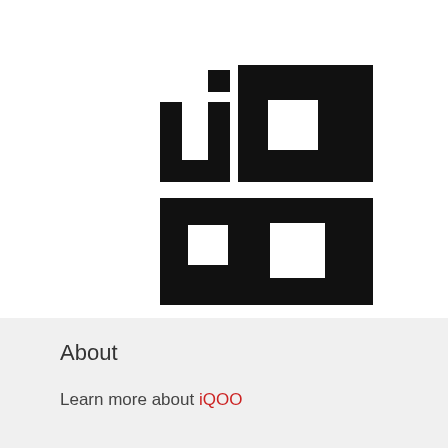[Figure (logo): iQOO logo with TM mark — four block shapes arranged in a 2x2 grid forming stylized letters i, O, O, Q in black, with TM superscript in top right]
About
Learn more about iQOO